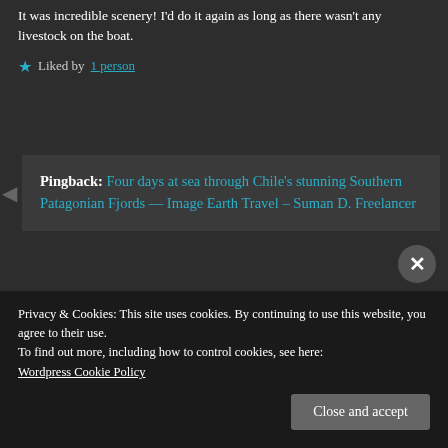It was incredible scenery! I'd do it again as long as there wasn't any livestock on the boat.
★ Liked by 1 person
Pingback: Four days at sea through Chile's stunning Southern Patagonian Fjords — Image Earth Travel – Suman D. Freelancer
Image Earth Travel
September 13, 2017 at 11:33
Many thanks for the re-blog Suman!
Privacy & Cookies: This site uses cookies. By continuing to use this website, you agree to their use.
To find out more, including how to control cookies, see here: Wordpress Cookie Policy